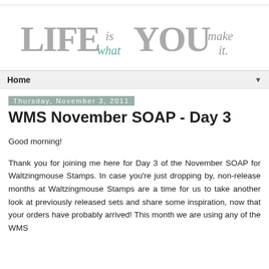[Figure (logo): Blog logo reading 'LIFE is what YOU make it.' with large stylized letters for LIFE and YOU in gray, and smaller italic text for connecting words, with 'what' in teal.]
Home ▼
Thursday, November 3, 2011
WMS November SOAP - Day 3
Good morning!
Thank you for joining me here for Day 3 of the November SOAP for Waltzingmouse Stamps. In case you're just dropping by, non-release months at Waltzingmouse Stamps are a time for us to take another look at previously released sets and share some inspiration, now that your orders have probably arrived! This month we are using any of the WMS